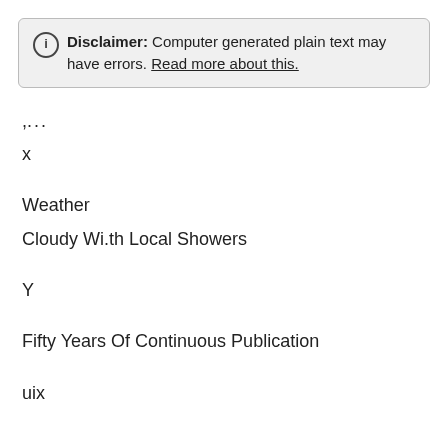Disclaimer: Computer generated plain text may have errors. Read more about this.
,,...
x
Weather
Cloudy Wi.th Local Showers
Y
Fifty Years Of Continuous Publication
uix